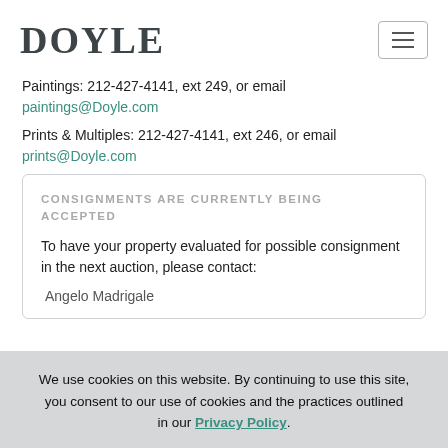DOYLE
Paintings: 212-427-4141, ext 249, or email paintings@Doyle.com
Prints & Multiples: 212-427-4141, ext 246, or email prints@Doyle.com
CONSIGNMENTS ARE CURRENTLY BEING ACCEPTED
To have your property evaluated for possible consignment in the next auction, please contact:
Angelo Madrigale
We use cookies on this website. By continuing to use this site, you consent to our use of cookies and the practices outlined in our Privacy Policy.